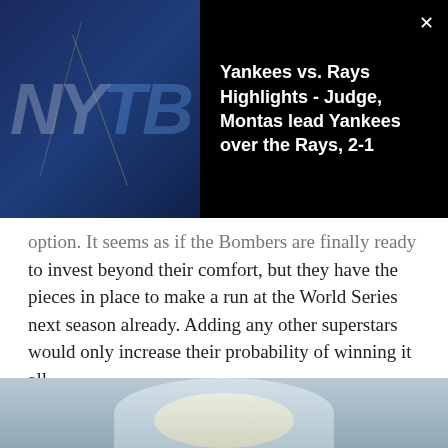[Figure (screenshot): Video thumbnail overlay showing Yankees vs Rays highlights. Dark background with NY and TB letters visible. Title reads: Yankees vs. Rays Highlights - Judge, Montas lead Yankees over the Rays, 2-1]
option. It seems as if the Bombers are finally ready to invest beyond their comfort, but they have the pieces in place to make a run at the World Series next season already. Adding any other superstars would only increase their probability of winning it all.
Share:
[Figure (screenshot): Social share buttons: Facebook (blue), Twitter (light blue), Flipboard (red), Email (purple)]
[Figure (photo): Bottom portion of page showing top of a person's head with blonde hair, light blue/grey background]